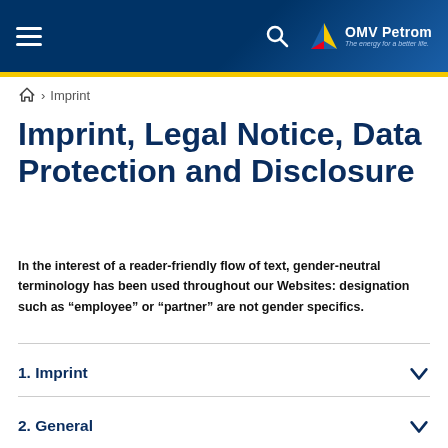OMV Petrom — The energy for a better life.
> Imprint
Imprint, Legal Notice, Data Protection and Disclosure
In the interest of a reader-friendly flow of text, gender-neutral terminology has been used throughout our Websites: designation such as “employee” or “partner” are not gender specifics.
1. Imprint
2. General